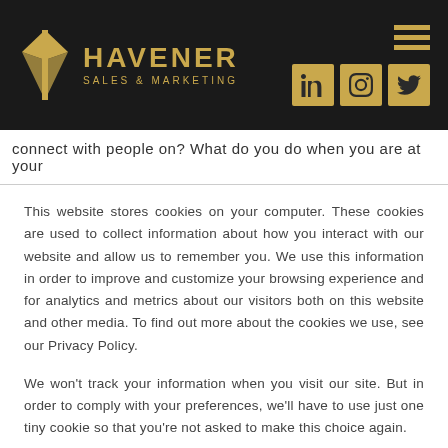[Figure (logo): Havener Sales & Marketing logo with gold diamond/arrow icon and company name on dark background, with hamburger menu and social media icons (LinkedIn, Instagram, Twitter)]
connect with people on? What do you do when you are at your
This website stores cookies on your computer. These cookies are used to collect information about how you interact with our website and allow us to remember you. We use this information in order to improve and customize your browsing experience and for analytics and metrics about our visitors both on this website and other media. To find out more about the cookies we use, see our Privacy Policy.
We won't track your information when you visit our site. But in order to comply with your preferences, we'll have to use just one tiny cookie so that you're not asked to make this choice again.